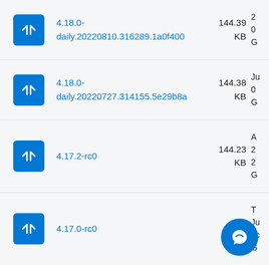4.18.0-daily.20220810.316289.1a0f400 144.39 KB
4.18.0-daily.20220727.314155.5e29b8a 144.38 KB
4.17.2-rc0 144.23 KB
4.17.0-rc0